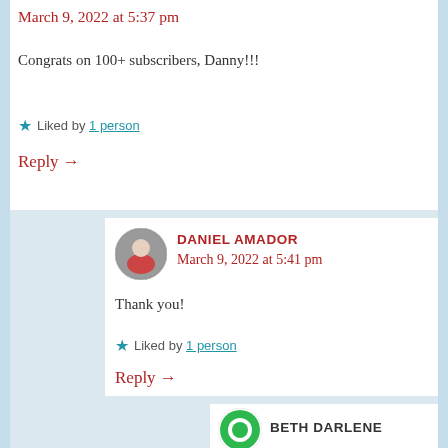March 9, 2022 at 5:37 pm
Congrats on 100+ subscribers, Danny!!!
Liked by 1 person
Reply →
DANIEL AMADOR
March 9, 2022 at 5:41 pm
Thank you!
Liked by 1 person
Reply →
BETH DARLENE